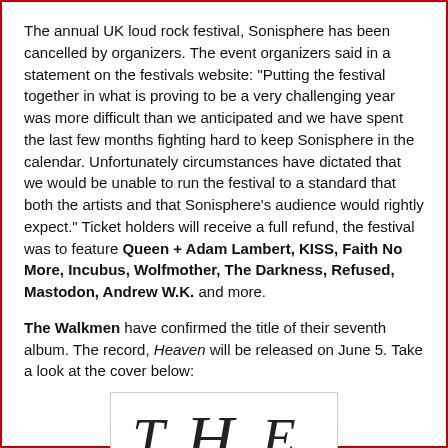The annual UK loud rock festival, Sonisphere has been cancelled by organizers. The event organizers said in a statement on the festivals website: "Putting the festival together in what is proving to be a very challenging year was more difficult than we anticipated and we have spent the last few months fighting hard to keep Sonisphere in the calendar. Unfortunately circumstances have dictated that we would be unable to run the festival to a standard that both the artists and that Sonisphere's audience would rightly expect." Ticket holders will receive a full refund, the festival was to feature Queen + Adam Lambert, KISS, Faith No More, Incubus, Wolfmother, The Darkness, Refused, Mastodon, Andrew W.K. and more.
The Walkmen have confirmed the title of their seventh album. The record, Heaven will be released on June 5. Take a look at the cover below:
[Figure (illustration): Album cover art showing decorative script lettering spelling 'THE' in ornate italic/calligraphic style on a white background with a thin border]